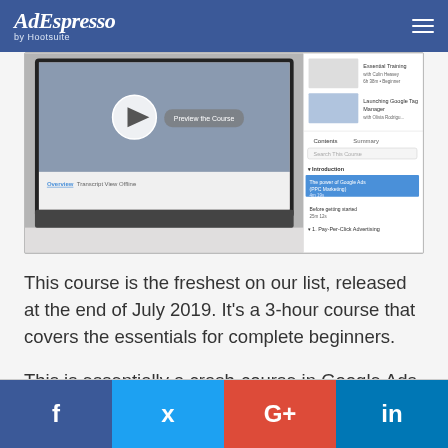AdEspresso by Hootsuite
[Figure (screenshot): Screenshot of an online course platform showing a laptop with a course video player and course sidebar with lessons listed]
This course is the freshest on our list, released at the end of July 2019. It's a 3-hour course that covers the essentials for complete beginners.
This is essentially a crash-course in Google Ads for beginners, and the length of the course reflects that.
Facebook | Twitter | Google+ | LinkedIn